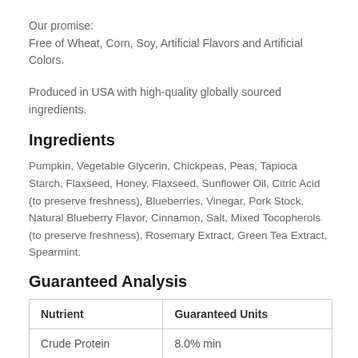Our promise:
Free of Wheat, Corn, Soy, Artificial Flavors and Artificial Colors.
Produced in USA with high-quality globally sourced ingredients.
Ingredients
Pumpkin, Vegetable Glycerin, Chickpeas, Peas, Tapioca Starch, Flaxseed, Honey, Flaxseed, Sunflower Oil, Citric Acid (to preserve freshness), Blueberries, Vinegar, Pork Stock, Natural Blueberry Flavor, Cinnamon, Salt, Mixed Tocopherols (to preserve freshness), Rosemary Extract, Green Tea Extract, Spearmint.
Guaranteed Analysis
| Nutrient | Guaranteed Units |
| --- | --- |
| Crude Protein | 8.0% min |